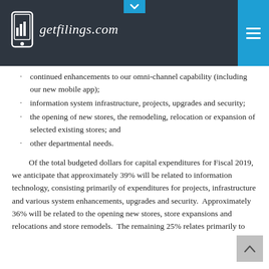getfilings.com
continued enhancements to our omni-channel capability (including our new mobile app);
information system infrastructure, projects, upgrades and security;
the opening of new stores, the remodeling, relocation or expansion of selected existing stores; and
other departmental needs.
Of the total budgeted dollars for capital expenditures for Fiscal 2019, we anticipate that approximately 39% will be related to information technology, consisting primarily of expenditures for projects, infrastructure and various system enhancements, upgrades and security.  Approximately 36% will be related to the opening new stores, store expansions and relocations and store remodels.  The remaining 25% relates primarily to